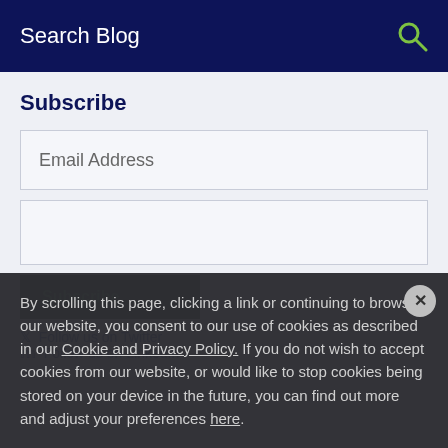Search Blog
Subscribe
Email Address
By scrolling this page, clicking a link or continuing to browse our website, you consent to our use of cookies as described in our Cookie and Privacy Policy. If you do not wish to accept cookies from our website, or would like to stop cookies being stored on your device in the future, you can find out more and adjust your preferences here.